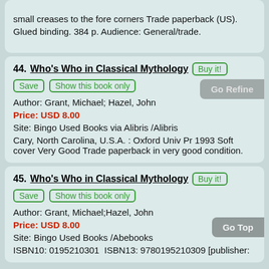small creases to the fore corners Trade paperback (US). Glued binding. 384 p. Audience: General/trade.
44. Who's Who in Classical Mythology [Buy it!] [Save] [Show this book only] [Go Refine] Author: Grant, Michael; Hazel, John Price: USD 8.00 Site: Bingo Used Books via Alibris /Alibris Cary, North Carolina, U.S.A. : Oxford Univ Pr 1993 Soft cover Very Good Trade paperback in very good condition.
45. Who's Who in Classical Mythology [Buy it!] [Save] [Show this book only] [Go Top] Author: Grant, Michael;Hazel, John Price: USD 8.00 Site: Bingo Used Books /Abebooks ISBN10: 0195210301  ISBN13: 9780195210309 [publisher: